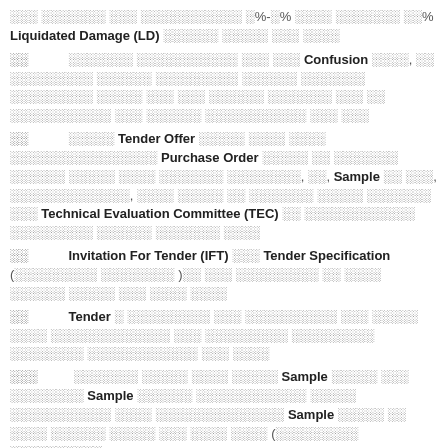░░░ ░░░░░░░ ░░░ ░░░░░░░░░░░ ░%-░% ░░░░ ░░░░░░░ ░░% Liquidated Damage (LD) ░░░░░░ ░░░░░ ░░░ ░░░░
░░        ░░░░░░░ ░░░░░░░░░░░ ░░░ ░░░ Confusion ░░░░, ░░ ░░░░░░░░░ ░░░░░░ ░░░░░░░░░ ░░░░░░ ░░░░░░░ ░░░░░░░░░ ░░░░░ ░░░ ░░░ ░░░░░░ ░░░░░░░ ░░░ ░░ ░░░░░░░░░░░ ░░░ ░░░░░░ ░░░░░░░░░░░ ░░░ ░░░
░░        ░░░░░ Tender Offer ░░░░░ ░░░░ ░░░░ ░░░░░░░░░░░░░░░░ Purchase Order ░░░░░ ░░ ░░░░░░░ ░░░░░░ ░░░░░ ░░░░ ░░░░░░░ ░░░░░░░░, ░░, Sample ░░ ░░░, ░░░░░░░░░░░░░, ░░░░ ░░░░░ ░░ ░░░░░░░ ░░░░░ ░░░░░░░ ░░░ Technical Evaluation Committee (TEC) ░░ ░░░░░░░░░░░░ ░░░░░░░░░ ░░░░░░ ░░░░░░░ ░░░░
░░        Invitation For Tender (IFT) ░░░ Tender Specification (░░░░░░░░░ ░░░░░░░░ )░░ ░░░ ░░░░░░░░░ ░░ ░░░░ ░░░░░░ ░░░░░ ░░░ ░░░░ ░░░░
░░        Tender ░ ░░░░░░░░░ ░░░ ░░░░░░░░░░ ░░░ ░░░░░ ░░░░ ░░░░░░░░░░░░░ ░░░ ░░░░░░░░░ ░░░░░░░░░ ░░░░░░░░ ░░░░░░░░░░░░ ░░░ ░░░░
░░░        ░░░░░░░ ░░░░░ ░░░░ ░░░░░ Sample ░░░░░ ░░░ ░░░░░░░░ Sample ░░░░░░ ░░░░░░░░░░░░ ░░░░░ ░░░░░░░░░░░ ░░░░ ░░░░░░░░░░░░░░ Sample ░░░░░ ░░ ░░░░ ░░░░░░ ░░░░░ ░░░ ░░░░ ░░░░ (░░░░░░░░░ ░░░░░░░░░░)
░░░        ░░░░░ ░░░░░░ ░░░░░░░░░░░░ ░░░░░░░░░░ ░░░░ ░░░░░░ ░░░░░░ ░░░░░░░ ░░░░ ░░░░ ░░░░ ░░░░░░░░ ░░░░░░░░░ ░░░░░░ ░░░░░░░░░░ ░░ ░░░ ░░░░░░░ ░░░░░░ CR Section ░░ ░░░░ ░░░░ ░░░░
░░        ░░░░░░░░ ░░░░░ ░░░░░ ░░░░░░░░░ ░░░░░ ░░░░ ░░░░░░░░░ ░░░░░░░░░